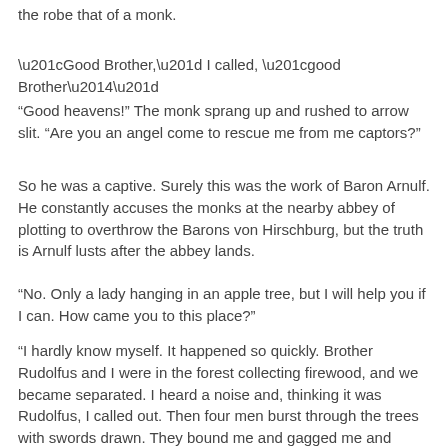the robe that of a monk.
“Good Brother,” I called, “good Brother—”
“Good heavens!” The monk sprang up and rushed to arrow slit. “Are you an angel come to rescue me from me captors?”
So he was a captive. Surely this was the work of Baron Arnulf. He constantly accuses the monks at the nearby abbey of plotting to overthrow the Barons von Hirschburg, but the truth is Arnulf lusts after the abbey lands.
“No. Only a lady hanging in an apple tree, but I will help you if I can. How came you to this place?”
“I hardly know myself. It happened so quickly. Brother Rudolfus and I were in the forest collecting firewood, and we became separated. I heard a noise and, thinking it was Rudolfus, I called out. Then four men burst through the trees with swords drawn. They bound me and gagged me and dragged me away!”